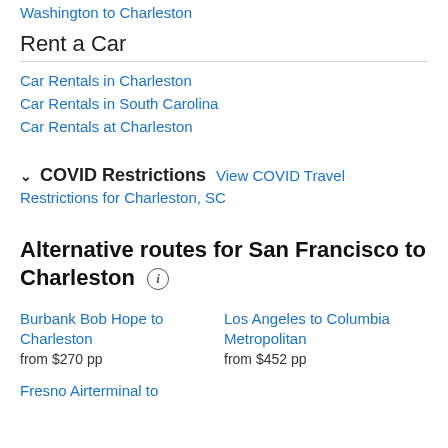Washington to Charleston
Rent a Car
Car Rentals in Charleston
Car Rentals in South Carolina
Car Rentals at Charleston
COVID Restrictions  View COVID Travel Restrictions for Charleston, SC
Alternative routes for San Francisco to Charleston
Burbank Bob Hope to Charleston
from $270 pp
Los Angeles to Columbia Metropolitan
from $452 pp
Fresno Airterminal to